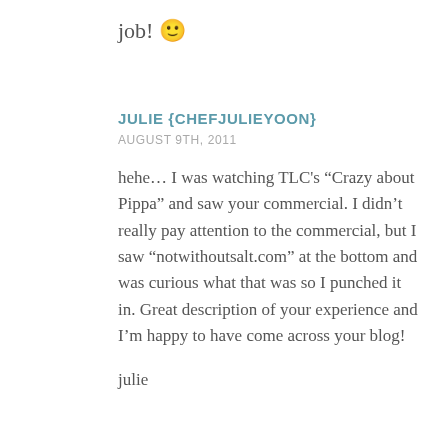job! 🙂
JULIE {CHEFJULIEYOON}
AUGUST 9TH, 2011
hehe… I was watching TLC's “Crazy about Pippa” and saw your commercial. I didn’t really pay attention to the commercial, but I saw “notwithoutsalt.com” at the bottom and was curious what that was so I punched it in. Great description of your experience and I’m happy to have come across your blog!
julie